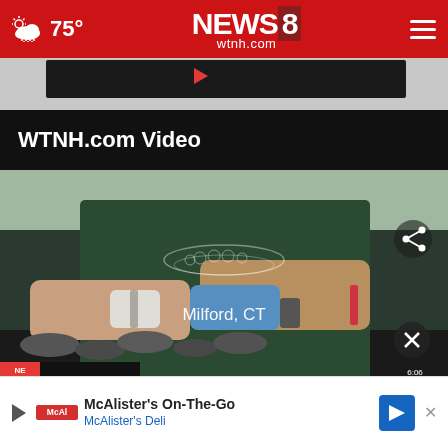75° NEWS 8 wtnh.com
[Figure (screenshot): Video player thumbnail showing a person in a dark green Milford CT t-shirt shucking oysters, with gloved hands holding a tool. Share icon in upper right of video. Close button in lower right.]
WTNH.com Video
[Figure (screenshot): Advertisement banner for McAlister's On-The-Go from McAlister's Deli with play button, logo, and navigation arrow icon.]
McAlister's On-The-Go
McAlister's Deli